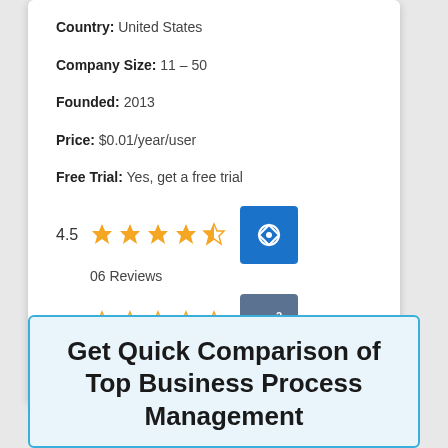Country: United States
Company Size: 11 – 50
Founded: 2013
Price: $0.01/year/user
Free Trial: Yes, get a free trial
[Figure (other): Rating row: 4.5 stars (4.5 out of 5, shown with filled and half star icons in orange) with Capterra blue logo badge]
06 Reviews
[Figure (other): Rating row: 0.0 stars (0 out of 5, empty star icons in orange) with G2 grey logo badge]
0 Reviews
Get Quick Comparison of Top Business Process Management